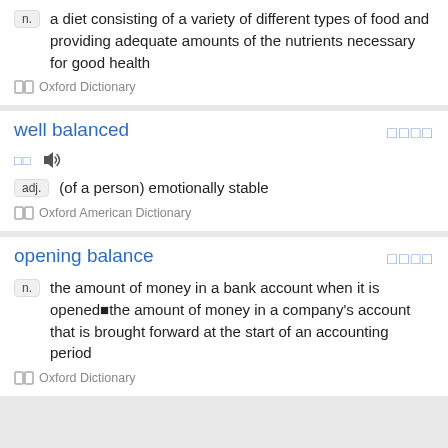n. a diet consisting of a variety of different types of food and providing adequate amounts of the nutrients necessary for good health
Oxford Dictionary
well balanced
adj. (of a person) emotionally stable
Oxford American Dictionary
opening balance
n. the amount of money in a bank account when it is opened■the amount of money in a company's account that is brought forward at the start of an accounting period
Oxford Dictionary